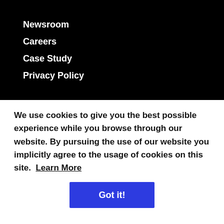Newsroom
Careers
Case Study
Privacy Policy
We use cookies to give you the best possible experience while you browse through our website. By pursuing the use of our website you implicitly agree to the usage of cookies on this site.  Learn More
Got it!